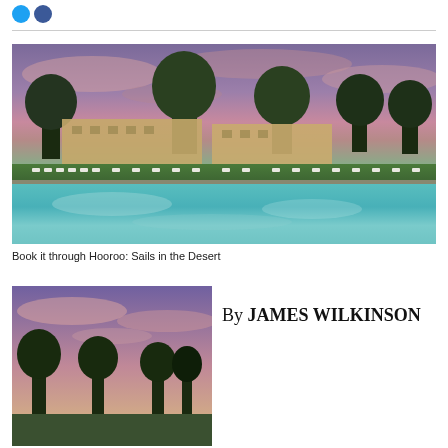[Figure (photo): Resort hotel with large swimming pool at sunset, pink and purple clouds reflecting in the turquoise pool water, trees and lounge chairs visible]
Book it through Hooroo: Sails in the Desert
[Figure (photo): Landscape photo at dusk with trees silhouetted against a pink and purple sky]
By JAMES WILKINSON